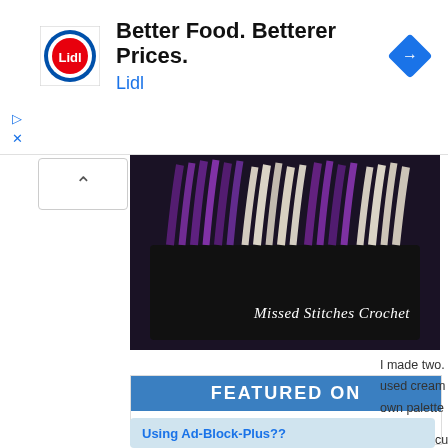[Figure (screenshot): Lidl advertisement banner with logo, 'Better Food. Betterer Prices.' headline, Lidl brand name in blue, and a blue diamond navigation icon on right. Ad controls (play and close) on left side.]
[Figure (photo): Photo of colorful yarn hanks (purple, white/cream) arranged on a dark background with 'Missed Stitches Crochet' watermark text in script font]
[Figure (infographic): Featured On AllFreeCrochet badge: blue header bar with white 'FEATURED ON' text, white area below with 'ALL' in blue, 'FREE' in red, 'CROCHET' in blue]
I made two. used cream. own palette
Please excus and use a sm
Using Ad-Block-Plus??